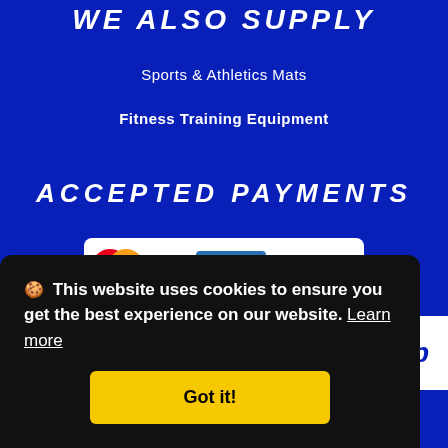WE ALSO SUPPLY
Sports & Athletics Mats
Fitness Training Equipment
ACCEPTED PAYMENTS
[Figure (logo): Accepted payment logos: MasterCard, VISA, American Express, PayPal displayed in a white rounded rectangle]
🍪 This website uses cookies to ensure you get the best experience on our website. Learn more
Got it!